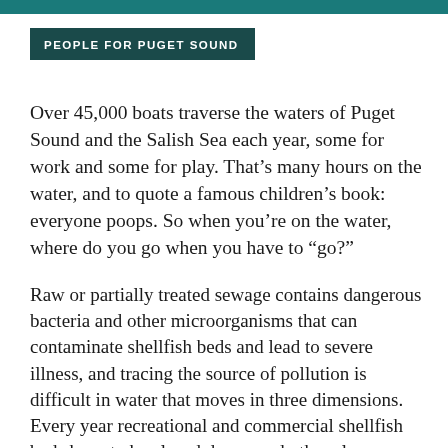PEOPLE FOR PUGET SOUND
Over 45,000 boats traverse the waters of Puget Sound and the Salish Sea each year, some for work and some for play. That’s many hours on the water, and to quote a famous children’s book: everyone poops. So when you’re on the water, where do you go when you have to “go?”
Raw or partially treated sewage contains dangerous bacteria and other microorganisms that can contaminate shellfish beds and lead to severe illness, and tracing the source of pollution is difficult in water that moves in three dimensions. Every year recreational and commercial shellfish beds have to be closed down, and other closures impact people and businesses that rely on clean water. Marine sanitation devices that flush sewage directly into Puget Sound do not adequately kill off the microorganisms that make people sick.